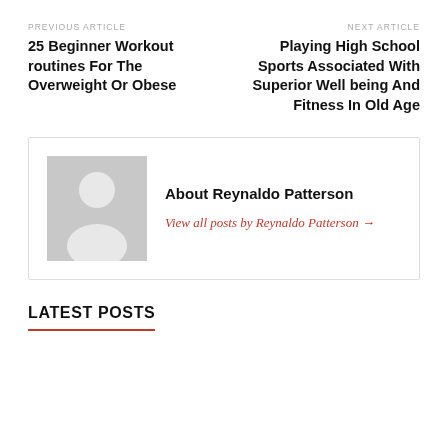PREVIOUS ARTICLE
25 Beginner Workout routines For The Overweight Or Obese
NEXT ARTICLE
Playing High School Sports Associated With Superior Well being And Fitness In Old Age
[Figure (illustration): Generic user avatar silhouette on grey background]
About Reynaldo Patterson
View all posts by Reynaldo Patterson →
LATEST POSTS